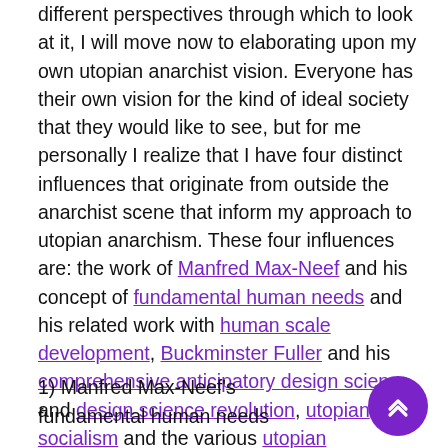different perspectives through which to look at it, I will move now to elaborating upon my own utopian anarchist vision. Everyone has their own vision for the kind of ideal society that they would like to see, but for me personally I realize that I have four distinct influences that originate from outside the anarchist scene that inform my approach to utopian anarchism. These four influences are: the work of Manfred Max-Neef and his concept of fundamental human needs and his related work with human scale development, Buckminster Fuller and his comprehensive anticipatory design science and design science revolution, utopian socialism and the various utopian communities that came about as a result of it, and Marshall Rosenberg and the framework for Nonviolent Communication that he created.
1) Manfred Max-Neef's fundamental human needs